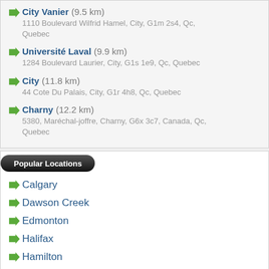City Vanier (9.5 km) — 1110 Boulevard Wilfrid Hamel, City, G1m 2s4, Qc, Quebec
Université Laval (9.9 km) — 1284 Boulevard Laurier, City, G1s 1e9, Qc, Quebec
City (11.8 km) — 44 Cote Du Palais, City, G1r 4h8, Qc, Quebec
Charny (12.2 km) — 5380, Maréchal-joffre, Charny, G6x 3c7, Canada, Qc, Quebec
Popular Locations
Calgary
Dawson Creek
Edmonton
Halifax
Hamilton